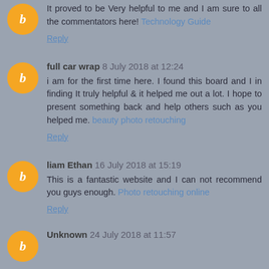It proved to be Very helpful to me and I am sure to all the commentators here! Technology Guide
Reply
full car wrap 8 July 2018 at 12:24
i am for the first time here. I found this board and I in finding It truly helpful & it helped me out a lot. I hope to present something back and help others such as you helped me. beauty photo retouching
Reply
liam Ethan 16 July 2018 at 15:19
This is a fantastic website and I can not recommend you guys enough. Photo retouching online
Reply
Unknown 24 July 2018 at 11:57